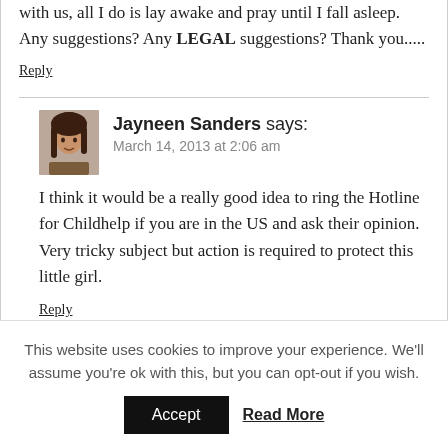with us, all I do is lay awake and pray until I fall asleep. Any suggestions? Any LEGAL suggestions? Thank you.....
Reply
Jayneen Sanders says:
March 14, 2013 at 2:06 am
I think it would be a really good idea to ring the Hotline for Childhelp if you are in the US and ask their opinion. Very tricky subject but action is required to protect this little girl.
Reply
This website uses cookies to improve your experience. We'll assume you're ok with this, but you can opt-out if you wish.
Accept
Read More